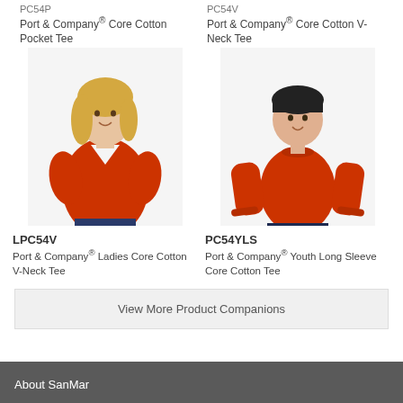PC54P
Port & Company® Core Cotton Pocket Tee
PC54V
Port & Company® Core Cotton V-Neck Tee
[Figure (photo): Woman wearing orange v-neck t-shirt]
LPC54V
Port & Company® Ladies Core Cotton V-Neck Tee
[Figure (photo): Boy wearing orange long sleeve t-shirt]
PC54YLS
Port & Company® Youth Long Sleeve Core Cotton Tee
View More Product Companions
About SanMar